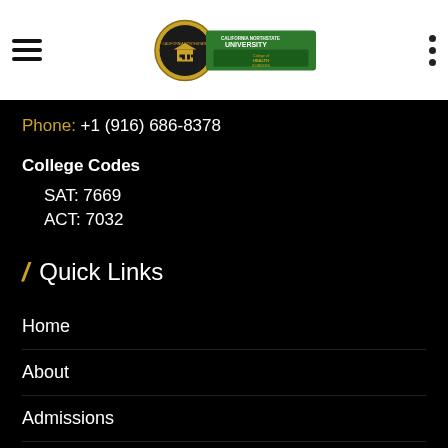California Northstate University College of Health Sciences — navigation header
Phone: +1 (916) 686-8378
College Codes
SAT: 7669
ACT: 7032
Quick Links
Home
About
Admissions
Research
Financial Aid